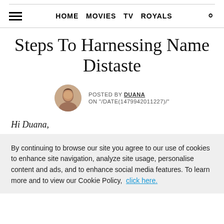HOME  MOVIES  TV  ROYALS
Steps To Harnessing Name Distaste
POSTED BY DUANA ON "/DATE(1479942011227)/"
Hi Duana,
By continuing to browse our site you agree to our use of cookies to enhance site navigation, analyze site usage, personalise content and ads, and to enhance social media features. To learn more and to view our Cookie Policy,  click here.